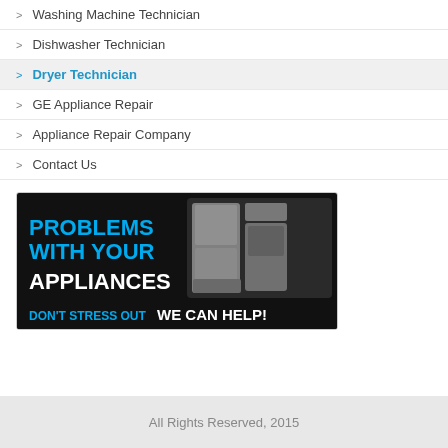Washing Machine Technician
Dishwasher Technician
Dryer Technician
GE Appliance Repair
Appliance Repair Company
Contact Us
[Figure (illustration): Advertisement banner with dark background showing household appliances (refrigerator, dishwasher, stove, microwave). Text reads 'PROBLEMS WITH YOUR APPLIANCES' in blue and white, and 'DON'T STRESS OUT WE CAN HELP!' at the bottom.]
All Rights Reserved, 2015